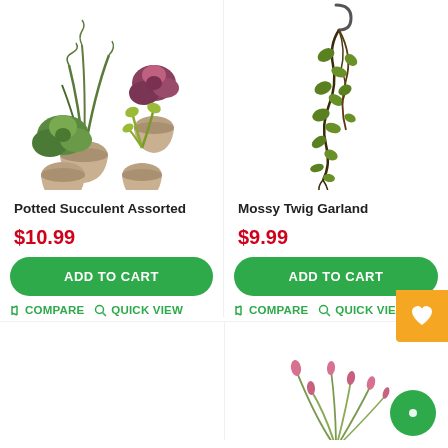[Figure (photo): Four small potted succulent plants with round woven/rope bases, shown as a group]
Potted Succulent Assorted
$10.99
ADD TO CART
COMPARE  QUICK VIEW
[Figure (photo): Mossy twig garland hanging from a hook, with trailing green leaves]
Mossy Twig Garland
$9.99
ADD TO CART
COMPARE  QUICK VIEW
[Figure (photo): Bottom partial view of a pink/red flowering plant]